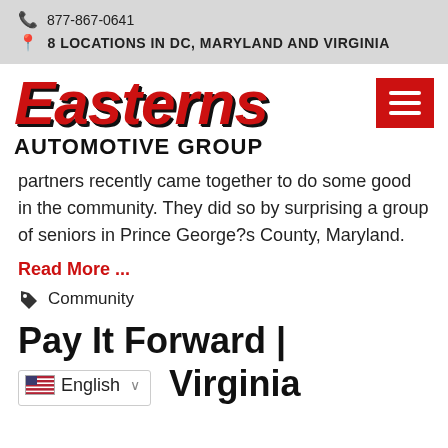877-867-0641
8 LOCATIONS IN DC, MARYLAND AND VIRGINIA
[Figure (logo): Easterns Automotive Group logo in red italic bold font with hamburger menu button in red]
partners recently came together to do some good in the community. They did so by surprising a group of seniors in Prince George?s County, Maryland.
Read More ...
Community
Pay It Forward | S... Virginia